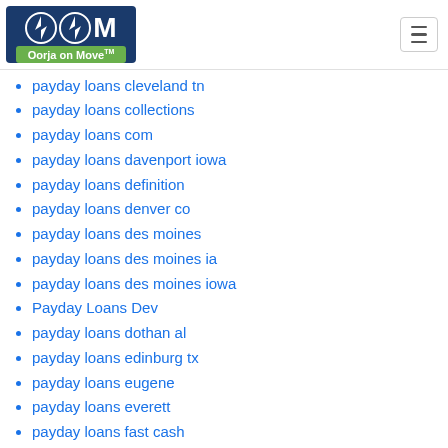Oorja on Move
payday loans cleveland tn
payday loans collections
payday loans com
payday loans davenport iowa
payday loans definition
payday loans denver co
payday loans des moines
payday loans des moines ia
payday loans des moines iowa
Payday Loans Dev
payday loans dothan al
payday loans edinburg tx
payday loans eugene
payday loans everett
payday loans fast cash
Payday Loans Fees